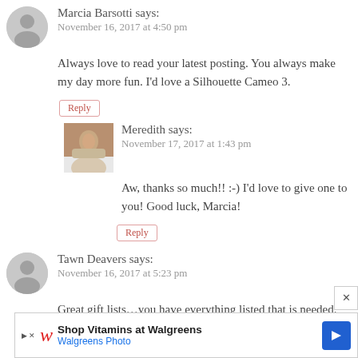Marcia Barsotti says:
November 16, 2017 at 4:50 pm
Always love to read your latest posting. You always make my day more fun. I'd love a Silhouette Cameo 3.
Reply
Meredith says:
November 17, 2017 at 1:43 pm
Aw, thanks so much!! :-) I'd love to give one to you! Good luck, Marcia!
Reply
Tawn Deavers says:
November 16, 2017 at 5:23 pm
Great gift lists…you have everything listed that is needed. AND an awesome giveaway! Thank you.
[Figure (infographic): Walgreens advertisement banner: Shop Vitamins at Walgreens, Walgreens Photo]